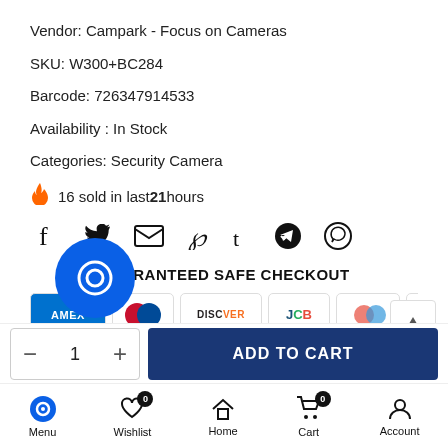Vendor: Campark - Focus on Cameras
SKU: W300+BC284
Barcode: 726347914533
Availability : In Stock
Categories: Security Camera
🔥 16 sold in last 21 hours
[Figure (infographic): Social share icons: Facebook, Twitter, Email, Pinterest, Tumblr, Telegram, WhatsApp]
GUARANTEED SAFE CHECKOUT
[Figure (infographic): Payment method logos: AMEX, Diners Club, Discover, JCB, PayPal, Mastercard]
[Figure (infographic): Add to cart bar with quantity control (minus, 1, plus) and ADD TO CART blue button]
[Figure (infographic): Bottom navigation bar with Menu (chat), Wishlist (0), Home, Cart (0), Account icons]